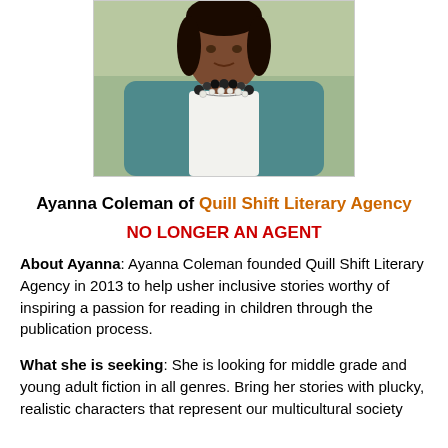[Figure (photo): Headshot photo of Ayanna Coleman, a woman wearing a teal/blue cardigan over a white shirt with a bold black and white pearl necklace, partial view from shoulders up.]
Ayanna Coleman of Quill Shift Literary Agency
NO LONGER AN AGENT
About Ayanna: Ayanna Coleman founded Quill Shift Literary Agency in 2013 to help usher inclusive stories worthy of inspiring a passion for reading in children through the publication process.
What she is seeking: She is looking for middle grade and young adult fiction in all genres. Bring her stories with plucky, realistic characters that represent our multicultural society